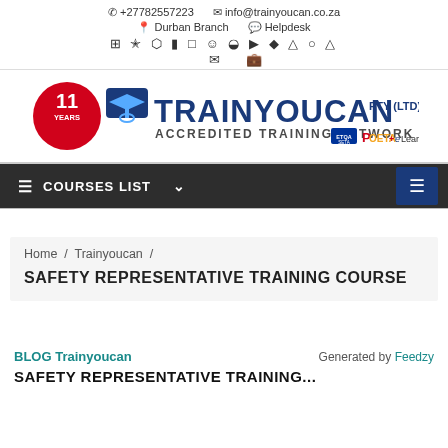☎ +27782557223   ✉ info@trainyoucan.co.za   ⦿ Durban Branch   ✦ Helpdesk
[Figure (logo): TrainYouCan PTY (LTD) Accredited Training Network logo with ETQA/SETA, POETA and eLearning badges, featuring 11 years badge and mascot.]
COURSES LIST
Home / Trainyoucan /
SAFETY REPRESENTATIVE TRAINING COURSE
BLOG Trainyoucan   Generated by Feedzy